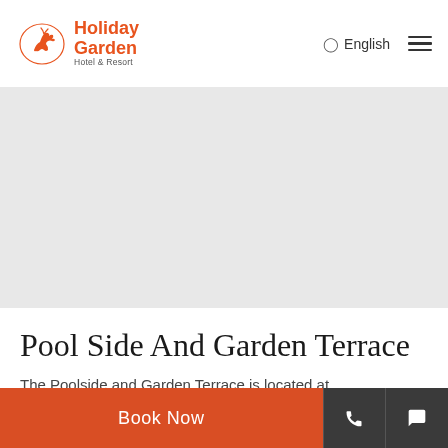[Figure (logo): Holiday Garden Hotel & Resort logo with orange deer/bird illustration and orange brand name text]
English
[Figure (photo): Large gray placeholder image area representing a pool side and garden terrace photo]
Pool Side And Garden Terrace
The Poolside and Garden Terrace is located at
Book Now